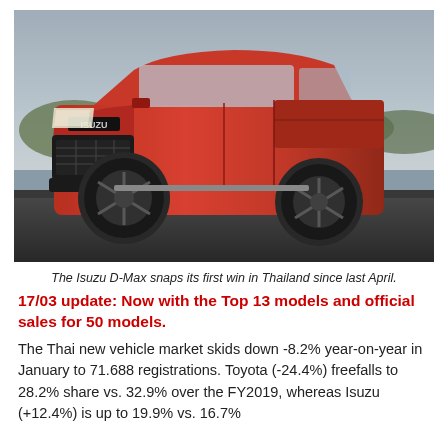[Figure (photo): Red Isuzu D-Max pickup truck photographed from front-left angle on a gravel surface with greenery in background. The truck is a bold red/orange color with prominent grille showing ISUZU badge, large alloy wheels, and modern styling.]
The Isuzu D-Max snaps its first win in Thailand since last April.
17/03 update: Now with the Top 13 models and official sales for 50 models.
The Thai new vehicle market skids down -8.2% year-on-year in January to 71.688 registrations. Toyota (-24.4%) freefalls to 28.2% share vs. 32.9% over the FY2019, whereas Isuzu (+12.4%) is up to 19.9% vs. 16.7%